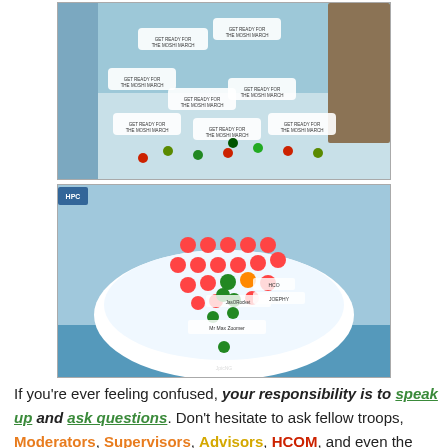[Figure (screenshot): Screenshot of a Club Penguin game scene with characters saying 'GET READY FOR THE MOSHI MARCH' in speech bubbles, set in an icy environment with various colored penguin characters.]
[Figure (screenshot): Screenshot of a Club Penguin game scene showing the iceberg area with many red-faced characters arranged in formation, and green penguin characters among them. Player names visible including 'Mr Max Zoomer' and 'JasORocket'.]
If you're ever feeling confused, your responsibility is to speak up and ask questions. Don't hesitate to ask fellow troops, Moderators, Supervisors, Advisors, HCOM, and even the Commander in Chief for assistance. We're all here to help each other, learn from each other, and grow together.